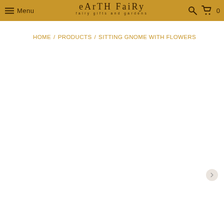Menu | earth fairy - fairy gifts and gardens | [search] [cart 0]
HOME / PRODUCTS / SITTING GNOME WITH FLOWERS